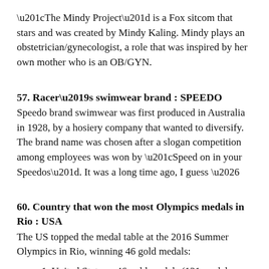“The Mindy Project” is a Fox sitcom that stars and was created by Mindy Kaling. Mindy plays an obstetrician/gynecologist, a role that was inspired by her own mother who is an OB/GYN.
57. Racer’s swimwear brand : SPEEDO
Speedo brand swimwear was first produced in Australia in 1928, by a hosiery company that wanted to diversify. The brand name was chosen after a slogan competition among employees was won by “Speed on in your Speedos”. It was a long time ago, I guess …
60. Country that won the most Olympics medals in Rio : USA
The US topped the medal table at the 2016 Summer Olympics in Rio, winning 46 gold medals:
United States – 46 gold medals (121 medals total)
Great Britain – 27 gold medals (67 medals total)
China – 26 gold medals (70 medals total)